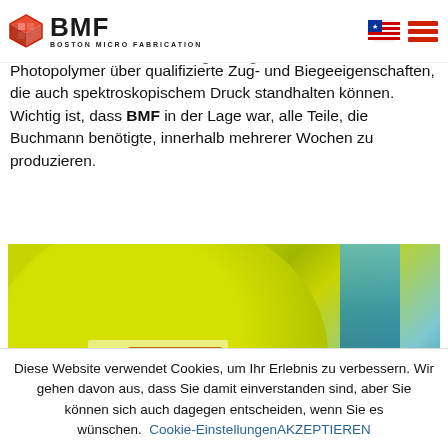BMF – Boston Micro Fabrication
Photopolymer über qualifizierte Zug- und Biegeeigenschaften, die auch spektroskopischem Druck standhalten können. Wichtig ist, dass BMF in der Lage war, alle Teile, die Buchmann benötigte, innerhalb mehrerer Wochen zu produzieren.
[Figure (photo): Close-up photo of a yellow-green circular component (likely a lens or optical part) with a blue streak on the right side and a small labeled/tagged element near the bottom center.]
Diese Website verwendet Cookies, um Ihr Erlebnis zu verbessern. Wir gehen davon aus, dass Sie damit einverstanden sind, aber Sie können sich auch dagegen entscheiden, wenn Sie es wünschen. Cookie-Einstellungen AKZEPTIEREN